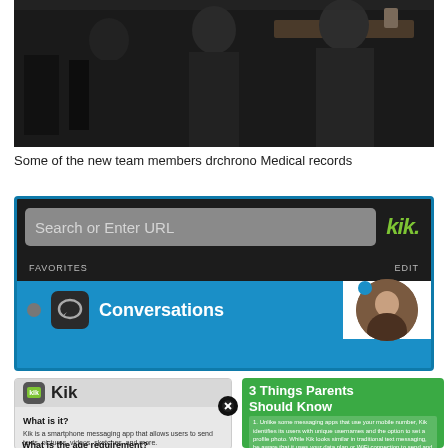[Figure (photo): Group photo of new team members sitting at a table in a dark room]
Some of the new team members drchrono Medical records
[Figure (screenshot): Screenshot of the Kik messaging app showing a search bar, Favorites/Edit bar, and Conversations section with a user profile photo]
[Figure (screenshot): Kik app info card showing 'What is it?' and 'What is the age requirement?' sections, partially overlapping a '3 Things Parents Should Know' green info card with numbered list items]
3 Things Parents Should Know
1. Unlike some messaging apps that use your mobile number, Kik identifies its users with unique usernames and the option to set a profile photo. While Kik looks similar in traditional text messaging, be aware that it uses your data plan or WiFi connection to send and receive messages.
2. Only the people you share your Kik username